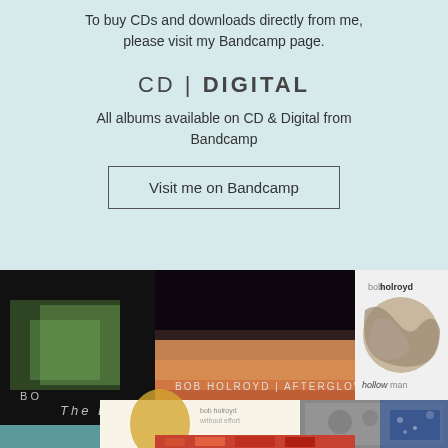To buy CDs and downloads directly from me, please visit my Bandcamp page.
CD | DIGITAL
All albums available on CD & Digital from Bandcamp
Visit me on Bandcamp
[Figure (photo): Grid of Bob Holroyd album covers including The Exchange, Afterglow, Hollow Man, and other releases]